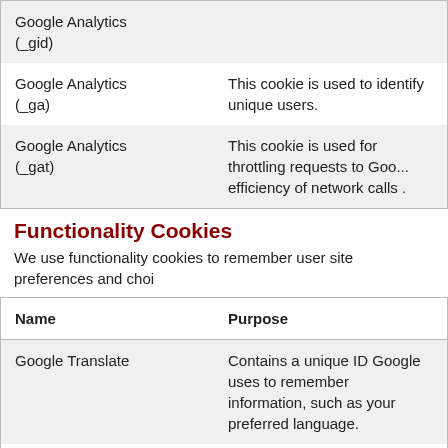| Name | Purpose |
| --- | --- |
| Google Analytics (_gid) |  |
| Google Analytics (_ga) | This cookie is used to identify unique users. |
| Google Analytics (_gat) | This cookie is used for throttling requests to Google Analytics to improve the efficiency of network calls . |
Functionality Cookies
We use functionality cookies to remember user site preferences and choi...
| Name | Purpose |
| --- | --- |
| Google Translate | Contains a unique ID Google uses to remember information, such as your preferred language. |
| apps | Retains data on appointment and appointment d... |
| dList1 | Retains data on repeat prescriptions form. |
| dList2 | Retains data on repeat prescriptions form. |